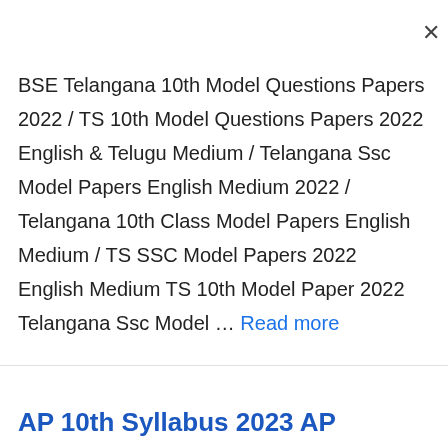BSE Telangana 10th Model Questions Papers 2022 / TS 10th Model Questions Papers 2022 English & Telugu Medium / Telangana Ssc Model Papers English Medium 2022 / Telangana 10th Class Model Papers English Medium / TS SSC Model Papers 2022 English Medium TS 10th Model Paper 2022 Telangana Ssc Model ... Read more
AP 10th Syllabus 2023 AP